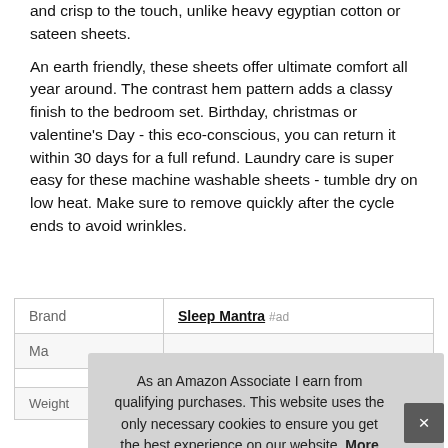and crisp to the touch, unlike heavy egyptian cotton or sateen sheets.
An earth friendly, these sheets offer ultimate comfort all year around. The contrast hem pattern adds a classy finish to the bedroom set. Birthday, christmas or valentine's Day - this eco-conscious, you can return it within 30 days for a full refund. Laundry care is super easy for these machine washable sheets - tumble dry on low heat. Make sure to remove quickly after the cycle ends to avoid wrinkles.
|  |  |
| --- | --- |
| Brand | Sleep Mantra #ad |
| Ma... |  |
|  |  |
| Weight | 7.1 Pounds |
As an Amazon Associate I earn from qualifying purchases. This website uses the only necessary cookies to ensure you get the best experience on our website. More information